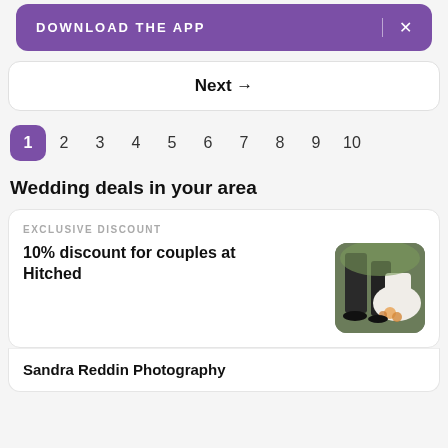[Figure (screenshot): Purple 'DOWNLOAD THE APP' banner button with X close button]
Next →
1 2 3 4 5 6 7 8 9 10
Wedding deals in your area
EXCLUSIVE DISCOUNT
10% discount for couples at Hitched
[Figure (photo): Photo of wedding couple feet, bride in white dress with flowers]
Sandra Reddin Photography